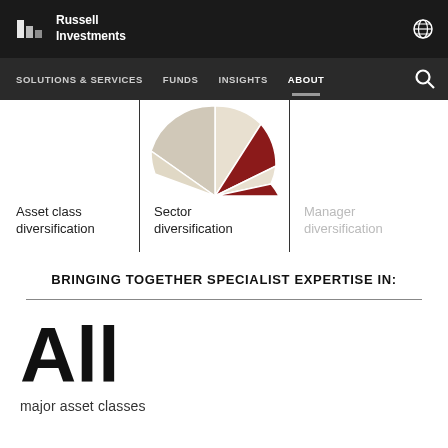Russell Investments
[Figure (infographic): Navigation menu with Solutions & Services, Funds, Insights, About (active), and search icon on dark background]
[Figure (infographic): Three-column diversification diagram showing partial pie/donut chart segments above labels: Asset class diversification, Sector diversification, Manager diversification (faded). Vertical divider lines between columns.]
BRINGING TOGETHER SPECIALIST EXPERTISE IN:
All
major asset classes